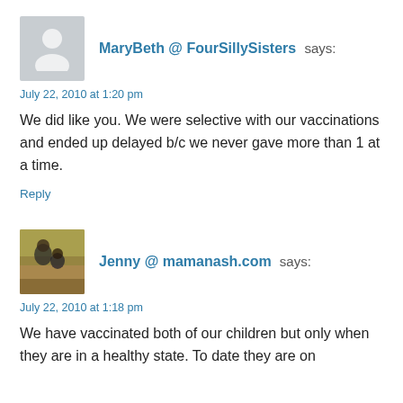[Figure (illustration): Gray placeholder avatar silhouette icon for user MaryBeth]
MaryBeth @ FourSillySisters says:
July 22, 2010 at 1:20 pm
We did like you. We were selective with our vaccinations and ended up delayed b/c we never gave more than 1 at a time.
Reply
[Figure (photo): Profile photo of Jenny showing a woman and child outdoors in autumn setting]
Jenny @ mamanash.com says:
July 22, 2010 at 1:18 pm
We have vaccinated both of our children but only when they are in a healthy state. To date they are on